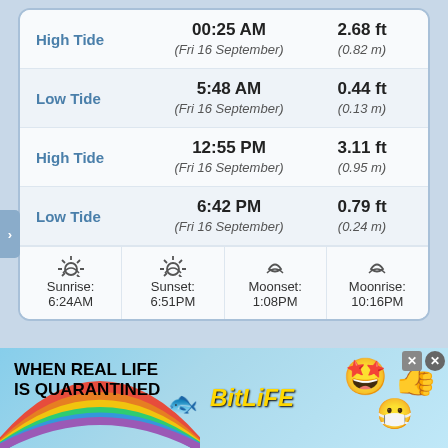| Type | Time | Height |
| --- | --- | --- |
| High Tide | 00:25 AM
(Fri 16 September) | 2.68 ft
(0.82 m) |
| Low Tide | 5:48 AM
(Fri 16 September) | 0.44 ft
(0.13 m) |
| High Tide | 12:55 PM
(Fri 16 September) | 3.11 ft
(0.95 m) |
| Low Tide | 6:42 PM
(Fri 16 September) | 0.79 ft
(0.24 m) |
Sunrise: 6:24AM | Sunset: 6:51PM | Moonset: 1:08PM | Moonrise: 10:16PM
[Figure (infographic): BitLife advertisement banner with rainbow, sperm emoji, star-eyes emoji, mask emoji, thumbs-up emoji. Text: WHEN REAL LIFE IS QUARANTINED, BitLife]